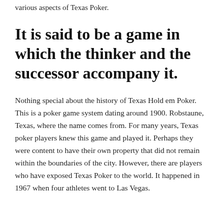various aspects of Texas Poker.
It is said to be a game in which the thinker and the successor accompany it.
Nothing special about the history of Texas Hold em Poker. This is a poker game system dating around 1900. Robstaune, Texas, where the name comes from. For many years, Texas poker players knew this game and played it. Perhaps they were content to have their own property that did not remain within the boundaries of the city. However, there are players who have exposed Texas Poker to the world. It happened in 1967 when four athletes went to Las Vegas.